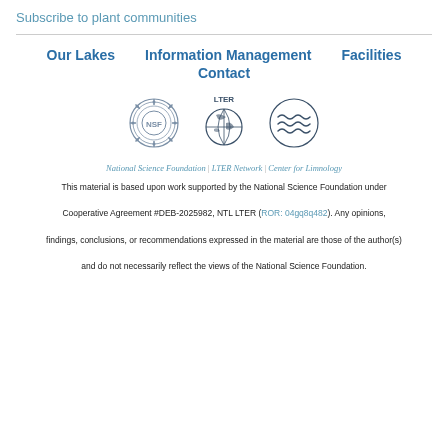Subscribe to plant communities
Our Lakes    Information Management    Facilities    Contact
[Figure (logo): Three logos in a row: NSF (National Science Foundation) gear/snowflake logo, LTER Network globe logo, and Center for Limnology water waves logo]
National Science Foundation | LTER Network | Center for Limnology
This material is based upon work supported by the National Science Foundation under Cooperative Agreement #DEB-2025982, NTL LTER (ROR: 04gq8q482). Any opinions, findings, conclusions, or recommendations expressed in the material are those of the author(s) and do not necessarily reflect the views of the National Science Foundation.